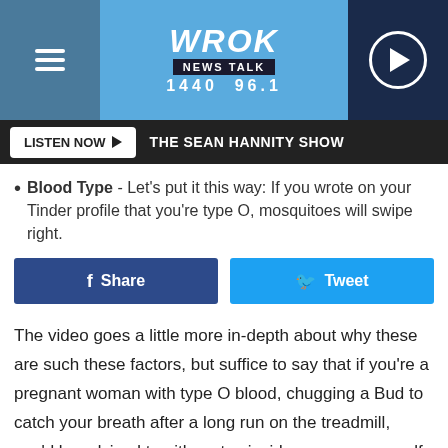WROK NEWS TALK 1440 96.1
LISTEN NOW ▶ THE SEAN HANNITY SHOW
Blood Type - Let's put it this way: If you wrote on your Tinder profile that you're type O, mosquitoes will swipe right.
Share | Tweet
The video goes a little more in-depth about why these are such these factors, but suffice to say that if you're a pregnant woman with type O blood, chugging a Bud to catch your breath after a long run on the treadmill, you'd be advised to either stay inside or cover yourself in OFF!
Source: 5 Surprising Reasons Mosquitoes May Bite You a Lot